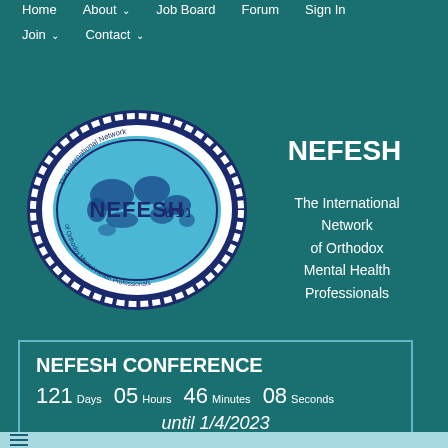Home | About | Job Board | Forum | Sign In | Join | Contact
[Figure (logo): NEFESH - The International Network of Orthodox Mental Health Professionals circular seal with world map and Hebrew text]
NEFESH
The International Network of Orthodox Mental Health Professionals
NEFESH CONFERENCE
121 Days 05 Hours 46 Minutes 08 Seconds
until 1/4/2023